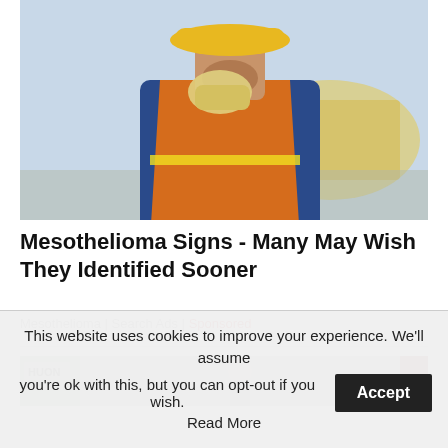[Figure (photo): Construction worker in yellow hard hat and orange safety vest, coughing into gloved hand, with blurred yellow construction equipment in background]
Mesothelioma Signs - Many May Wish They Identified Sooner
Mesothelioma | Search Ads | Sponsored
[Figure (photo): Partially visible second article image with HUON text label, blurred storefront scene]
This website uses cookies to improve your experience. We'll assume you're ok with this, but you can opt-out if you wish. Accept Read More